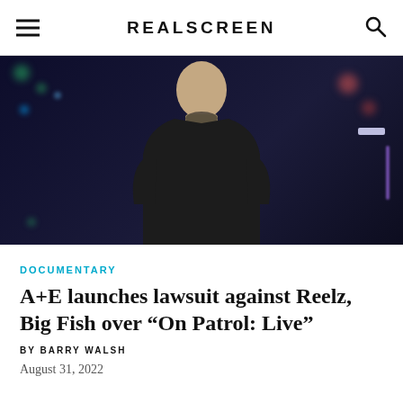REALSCREEN
[Figure (photo): A man in a dark sweater standing in front of a colorful bokeh background with blues, reds, and greens]
DOCUMENTARY
A+E launches lawsuit against Reelz, Big Fish over “On Patrol: Live”
BY BARRY WALSH
August 31, 2022